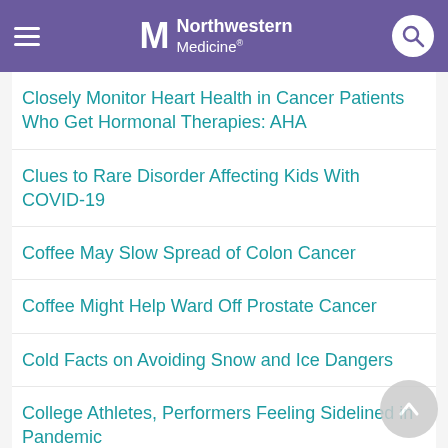Northwestern Medicine
Closely Monitor Heart Health in Cancer Patients Who Get Hormonal Therapies: AHA
Clues to Rare Disorder Affecting Kids With COVID-19
Coffee May Slow Spread of Colon Cancer
Coffee Might Help Ward Off Prostate Cancer
Cold Facts on Avoiding Snow and Ice Dangers
College Athletes, Performers Feeling Sidelined in Pandemic
College Campuses Are COVID 'Superspreaders,' Study Finds
College Can Really Ramp Up Stress for People With ADHD